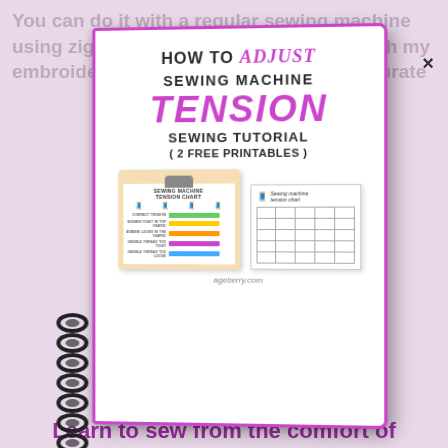You can do it with a regular sewing machine using zigzag stitches but I like to do it with my embroidery machine. it's much more accurate
×
[Figure (photo): A spiral-bound notebook/booklet with a pink/purple border showing the cover: 'HOW TO adjust SEWING MACHINE TENSION SEWING TUTORIAL (2 FREE PRINTABLES)' with images of printable tension charts. Website ageberry.com shown at bottom of cover.]
Learn to sew from the comfort of